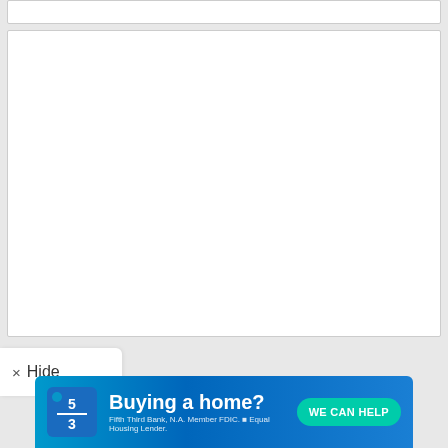[Figure (other): Top white content box (partial, empty)]
[Figure (other): Main white content box (empty/blank)]
× Hide
[Figure (infographic): Fifth Third Bank advertisement banner: 'Buying a home? WE CAN HELP' with Fifth Third Bank logo and text 'Fifth Third Bank N.A. Member FDIC. Equal Housing Lender.']